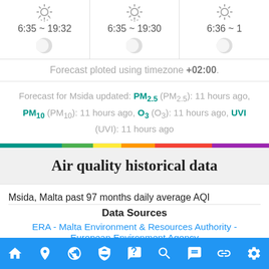[Figure (infographic): Three weather cells showing sunrise/sunset times and moon phase icons: '6:35 ~ 19:32', '6:35 ~ 19:30', '6:36 ~ 1...' with sun and moon icons]
Forecast ploted using timezone +02:00.
Forecast for Msida updated: PM2.5 (PM2.5): 11 hours ago, PM10 (PM10): 11 hours ago, O3 (O3): 11 hours ago, UVI (UVI): 11 hours ago
[Figure (infographic): Multicolor horizontal bar: teal, green, yellow, orange, red, purple]
Air quality historical data
Msida, Malta past 97 months daily average AQI
Data Sources
ERA - Malta Environment & Resources Authority -
European Environment Agency
[Figure (infographic): Bottom navigation bar with icons: home, location, globe, mask, FAQ, search, user/chat, link, settings]